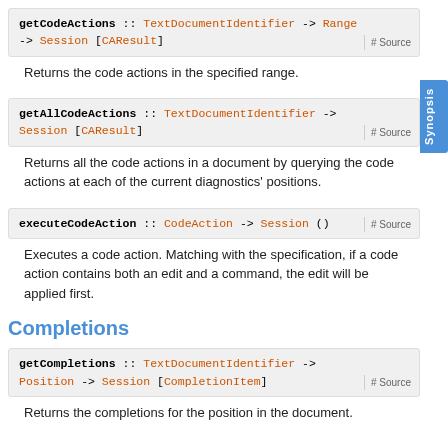getCodeActions :: TextDocumentIdentifier -> Range -> Session [CAResult]   # Source
Returns the code actions in the specified range.
getAllCodeActions :: TextDocumentIdentifier -> Session [CAResult]   # Source
Returns all the code actions in a document by querying the code actions at each of the current diagnostics' positions.
executeCodeAction :: CodeAction -> Session ()   # Source
Executes a code action. Matching with the specification, if a code action contains both an edit and a command, the edit will be applied first.
Completions
getCompletions :: TextDocumentIdentifier -> Position -> Session [CompletionItem]   # Source
Returns the completions for the position in the document.